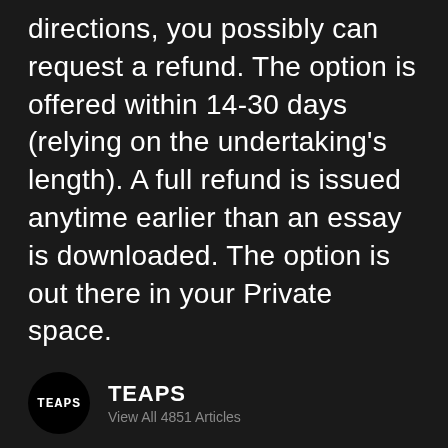directions, you possibly can request a refund. The option is offered within 14-30 days (relying on the undertaking's length). A full refund is issued anytime earlier than an essay is downloaded. The option is out there in your Private space.
[Figure (logo): Circular black logo with white text 'TEAPS' in monospace font]
TEAPS
View All 4851 Articles
Ce site utilise des cookies pour améliorer votre expérience. Voir notre politique relative aux cookies.
MENTIONS LÉGALES   J'accepte